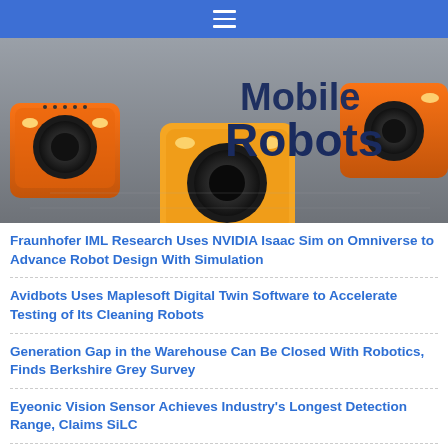≡ (navigation menu bar)
[Figure (photo): Photo of orange autonomous mobile robots on a warehouse floor, with overlay text reading 'Mobile Robots' in dark navy bold font]
Fraunhofer IML Research Uses NVIDIA Isaac Sim on Omniverse to Advance Robot Design With Simulation
Avidbots Uses Maplesoft Digital Twin Software to Accelerate Testing of Its Cleaning Robots
Generation Gap in the Warehouse Can Be Closed With Robotics, Finds Berkshire Grey Survey
Eyeonic Vision Sensor Achieves Industry's Longest Detection Range, Claims SiLC
› More mobile robots
Collaborative Robots